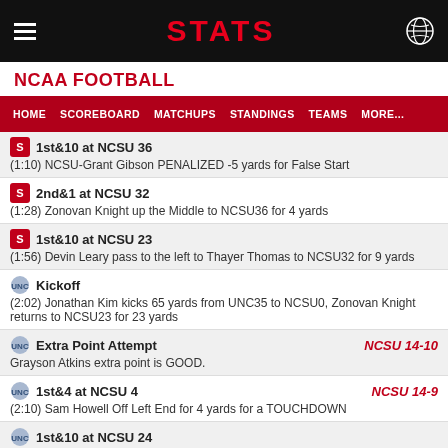STATS
NCAA FOOTBALL
HOME  SCOREBOARD  MATCHUPS  STANDINGS  TEAMS  MORE...
1st&10 at NCSU 36
(1:10) NCSU-Grant Gibson PENALIZED -5 yards for False Start
2nd&1 at NCSU 32
(1:28) Zonovan Knight up the Middle to NCSU36 for 4 yards
1st&10 at NCSU 23
(1:56) Devin Leary pass to the left to Thayer Thomas to NCSU32 for 9 yards
Kickoff
(2:02) Jonathan Kim kicks 65 yards from UNC35 to NCSU0, Zonovan Knight returns to NCSU23 for 23 yards
Extra Point Attempt  NCSU 14-10
Grayson Atkins extra point is GOOD.
1st&4 at NCSU 4  NCSU 14-9
(2:10) Sam Howell Off Left End for 4 yards for a TOUCHDOWN
1st&10 at NCSU 24